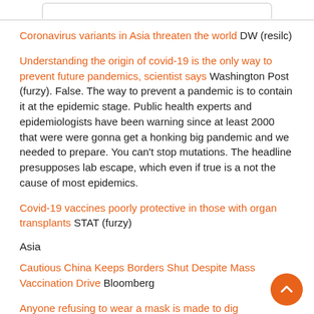Coronavirus variants in Asia threaten the world DW (resilc)
Understanding the origin of covid-19 is the only way to prevent future pandemics, scientist says Washington Post (furzy). False. The way to prevent a pandemic is to contain it at the epidemic stage. Public health experts and epidemiologists have been warning since at least 2000 that were were gonna get a honking big pandemic and we needed to prepare. You can't stop mutations. The headline presupposes lab escape, which even if true is a not the cause of most epidemics.
Covid-19 vaccines poorly protective in those with organ transplants STAT (furzy)
Asia
Cautious China Keeps Borders Shut Despite Mass Vaccination Drive Bloomberg
Anyone refusing to wear a mask is made to dig